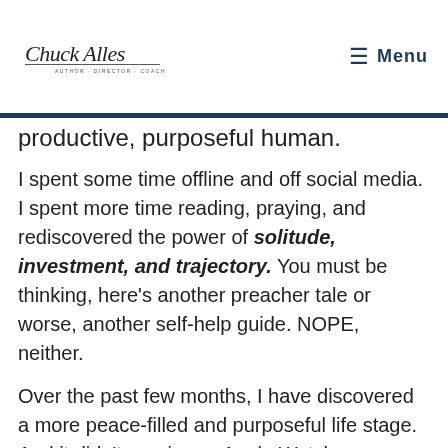Chuck Alles — Author · Director · Coach | Menu
productive, purposeful human.
I spent some time offline and off social media. I spent more time reading, praying, and rediscovered the power of solitude, investment, and trajectory. You must be thinking, here's another preacher tale or worse, another self-help guide. NOPE, neither.
Over the past few months, I have discovered a more peace-filled and purposeful life stage. And it didn't require an Apple Watch, super-planner, conference, book, or retreat. It took solitude,